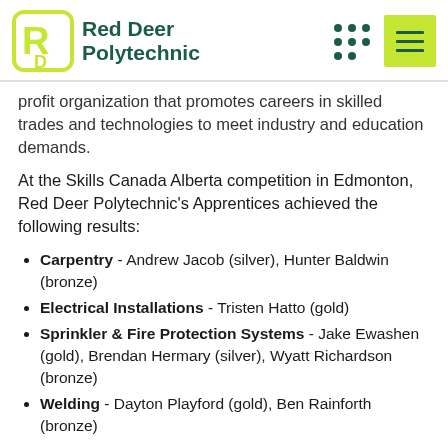[Figure (logo): Red Deer Polytechnic logo with green R-D mark and navigation dots and hamburger menu button]
profit organization that promotes careers in skilled trades and technologies to meet industry and education demands.
At the Skills Canada Alberta competition in Edmonton, Red Deer Polytechnic's Apprentices achieved the following results:
Carpentry - Andrew Jacob (silver), Hunter Baldwin (bronze)
Electrical Installations - Tristen Hatto (gold)
Sprinkler & Fire Protection Systems - Jake Ewashen (gold), Brendan Hermary (silver), Wyatt Richardson (bronze)
Welding - Dayton Playford (gold), Ben Rainforth (bronze)